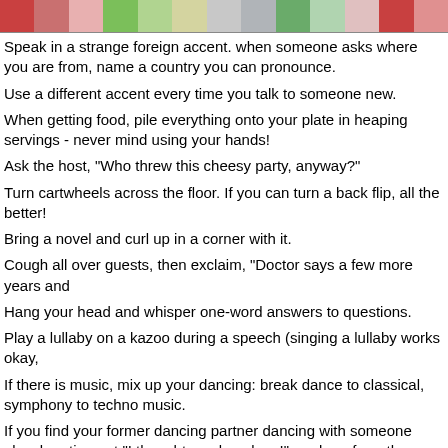[Figure (illustration): Colorful decorative header bar with alternating red, green, and muted color blocks]
Speak in a strange foreign accent. when someone asks where you are from, name a country you can pronounce.
Use a different accent every time you talk to someone new.
When getting food, pile everything onto your plate in heaping servings - never mind using your hands!
Ask the host, "Who threw this cheesy party, anyway?"
Turn cartwheels across the floor. If you can turn a back flip, all the better!
Bring a novel and curl up in a corner with it.
Cough all over guests, then exclaim, "Doctor says a few more years and
Hang your head and whisper one-word answers to questions.
Play a lullaby on a kazoo during a speech (singing a lullaby works okay,
If there is music, mix up your dancing: break dance to classical, symphony to techno music.
If you find your former dancing partner dancing with someone else, burst thought you loved me!", and run from the room.